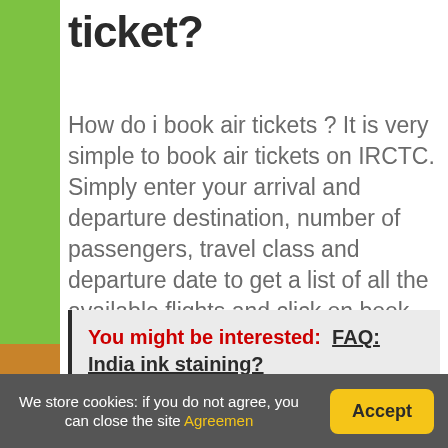ticket?
How do i book air tickets ? It is very simple to book air tickets on IRCTC. Simply enter your arrival and departure destination, number of passengers, travel class and departure date to get a list of all the available flights and click on book now to reserve your preferred flight .
You might be interested:  FAQ: India ink staining?
We store cookies: if you do not agree, you can close the site Agreemen